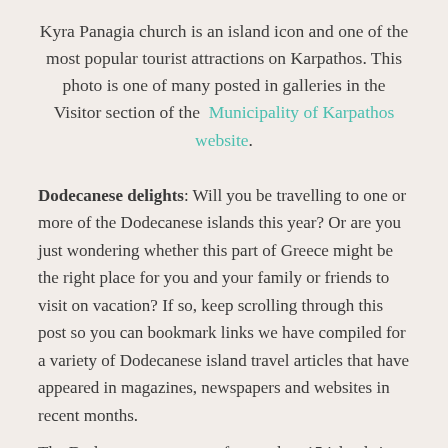Kyra Panagia church is an island icon and one of the most popular tourist attractions on Karpathos. This photo is one of many posted in galleries in the Visitor section of the Municipality of Karpathos website.
Dodecanese delights: Will you be travelling to one or more of the Dodecanese islands this year? Or are you just wondering whether this part of Greece might be the right place for you and your family or friends to visit on vacation? If so, keep scrolling through this post so you can bookmark links we have compiled for a variety of Dodecanese island travel articles that have appeared in magazines, newspapers and websites in recent months.
The Dodecanese, a group of more than 15 islands in the